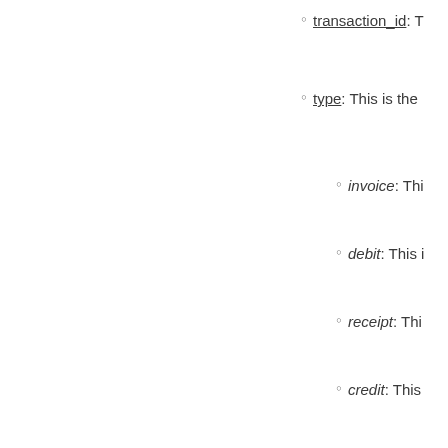transaction_id: T…
type: This is the…
invoice: Thi…
debit: This i…
receipt: Thi…
credit: This…
customer_id: Th…
selling_amount:…
selling_currency… Customer.
accounting_amo…